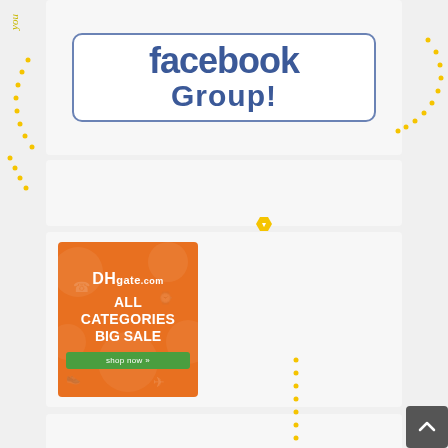[Figure (illustration): Facebook Group promotional banner with blue text 'facebook Group!' on white rounded rectangle with blue border]
[Figure (illustration): Empty light gray panel/content block]
[Figure (illustration): DHgate.com advertisement - orange background, 'ALL CATEGORIES BIG SALE' with shop now button]
[Figure (illustration): Empty light gray panel/content block at bottom]
[Figure (illustration): Dark gray back-to-top button with upward chevron arrow, bottom right corner]